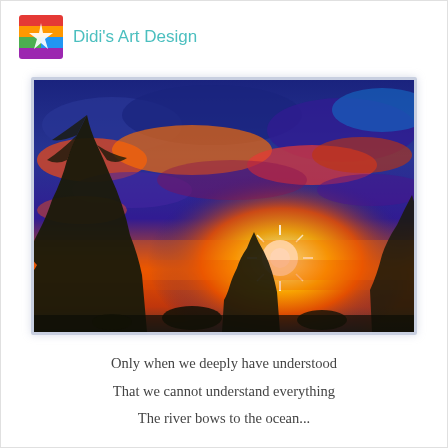Didi's Art Design
[Figure (photo): Vibrant, heavily saturated sunset photo with dramatic orange, red, and blue clouds filling the sky. Dark silhouettes of pine/desert trees frame the foreground. A bright sun star bursts near the horizon center-right. The image has a painterly, HDR-processed look with rich contrasts.]
Only when we deeply have understood
That we cannot understand everything
The river bows to the ocean...